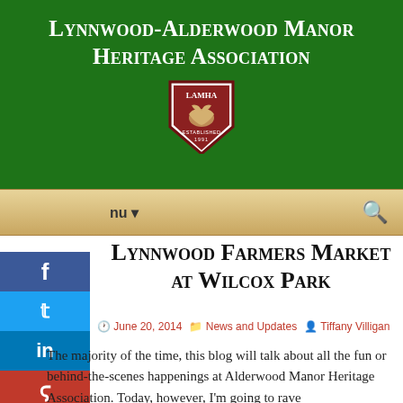Lynnwood-Alderwood Manor Heritage Association
[Figure (logo): LAMHA shield logo with bird, established 1991]
[Figure (screenshot): Navigation bar with menu dropdown and search icon, wood-grain background]
[Figure (infographic): Social media share sidebar with Facebook, Twitter, LinkedIn, StumbleUpon, and Pinterest buttons]
Lynnwood Farmers Market at Wilcox Park
June 20, 2014   News and Updates   Tiffany Villigan
The majority of the time, this blog will talk about all the fun or behind-the-scenes happenings at Alderwood Manor Heritage Association. Today, however, I'm going to rave